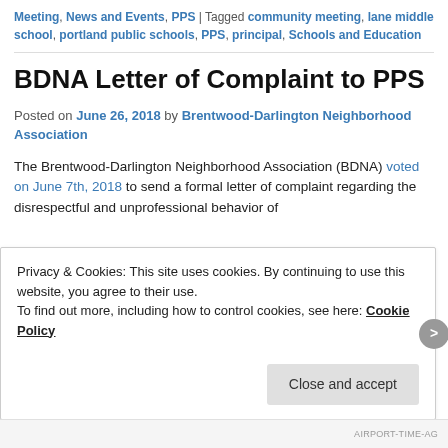Meeting, News and Events, PPS | Tagged community meeting, lane middle school, portland public schools, PPS, principal, Schools and Education
BDNA Letter of Complaint to PPS
Posted on June 26, 2018 by Brentwood-Darlington Neighborhood Association
The Brentwood-Darlington Neighborhood Association (BDNA) voted on June 7th, 2018 to send a formal letter of complaint regarding the disrespectful and unprofessional behavior of
Privacy & Cookies: This site uses cookies. By continuing to use this website, you agree to their use.
To find out more, including how to control cookies, see here: Cookie Policy